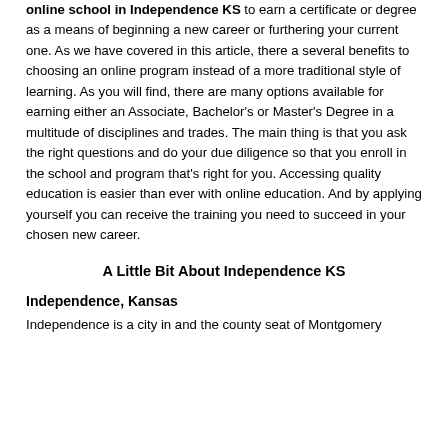online school in Independence KS to earn a certificate or degree as a means of beginning a new career or furthering your current one.  As we have covered in this article, there a several benefits to choosing an online program instead of a more traditional style of learning.  As you will find, there are many options available for earning either an Associate, Bachelor's or Master's Degree in a multitude of disciplines and trades.  The main thing is that you ask the right questions and do your due diligence so that you enroll in the school and program that's right for you.  Accessing quality education is easier than ever with online education.  And by applying yourself you can receive the training you need to succeed in your chosen new career.
A Little Bit About Independence KS
Independence, Kansas
Independence is a city in and the county seat of Montgomery